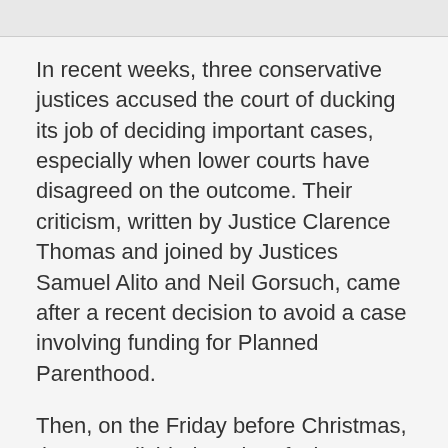[Figure (other): Gray top bar / header image area]
In recent weeks, three conservative justices accused the court of ducking its job of deciding important cases, especially when lower courts have disagreed on the outcome. Their criticism, written by Justice Clarence Thomas and joined by Justices Samuel Alito and Neil Gorsuch, came after a recent decision to avoid a case involving funding for Planned Parenthood.
Then, on the Friday before Christmas, the court divided 5-4 in refusing to allow the Trump administration to enforce new restrictions on asylum seekers. Roberts joined the four liberals. The three conservatives who